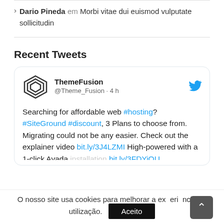> Dario Pineda em Morbi vitae dui euismod vulputate sollicitudin
Recent Tweets
[Figure (screenshot): Tweet card from ThemeFusion (@Theme_Fusion · 4 h) with ThemeFusion logo and Twitter bird icon. Tweet text: Searching for affordable web #hosting? #SiteGround #discount, 3 Plans to choose from. Migrating could not be any easier. Check out the explainer video bit.ly/3J4LZMI High-powered with a 1-click Avada installation bit.ly/3FDYiQU (cut off)]
O nosso site usa cookies para melhorar a experiência de utilização. Aceito